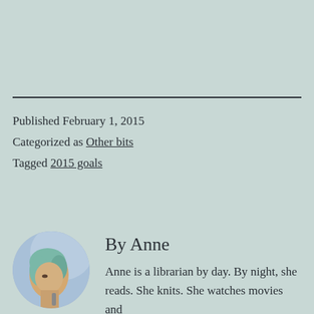Published February 1, 2015
Categorized as Other bits
Tagged 2015 goals
[Figure (photo): Circular author avatar photo of Anne, a woman with light blue/teal hair against a blue sky background]
By Anne
Anne is a librarian by day. By night, she reads. She knits. She watches movies and